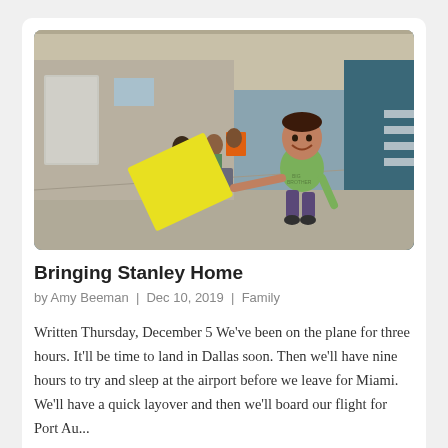[Figure (photo): Airport corridor photo: a smiling boy in a green 'Big Brother' t-shirt runs toward the camera holding a large yellow sign; in the background adults walk carrying bags and an orange sign; the setting is an airport terminal with teal pillars and beige floors.]
Bringing Stanley Home
by Amy Beeman | Dec 10, 2019 | Family
Written Thursday, December 5 We've been on the plane for three hours. It'll be time to land in Dallas soon. Then we'll have nine hours to try and sleep at the airport before we leave for Miami. We'll have a quick layover and then we'll board our flight for Port Au...